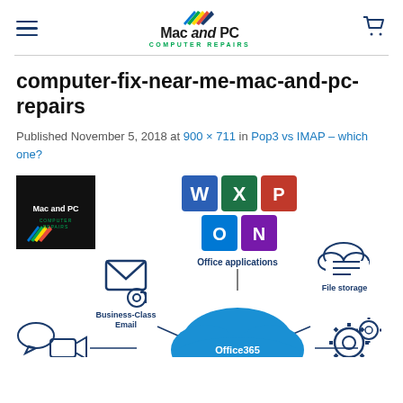Mac and PC Computer Repairs
computer-fix-near-me-mac-and-pc-repairs
Published November 5, 2018 at 900 × 711 in Pop3 vs IMAP – which one?
[Figure (infographic): Mac and PC Computer Repairs logo and Office 365 infographic showing Office applications, Business-Class Email, File storage, video/chat icons, gear icons, and a large blue Office 365 cloud in the center.]